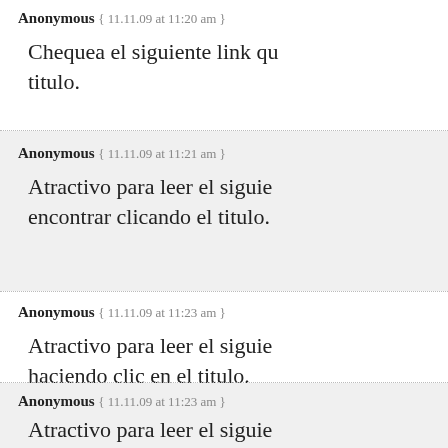Anonymous { 11.11.09 at 11:20 am }
Chequea el siguiente link qu titulo.
Anonymous { 11.11.09 at 11:21 am }
Atractivo para leer el siguie encontrar clicando el titulo.
Anonymous { 11.11.09 at 11:23 am }
Atractivo para leer el siguie haciendo clic en el titulo.
Anonymous { 11.11.09 at 11:23 am }
Atractivo para leer el siguie